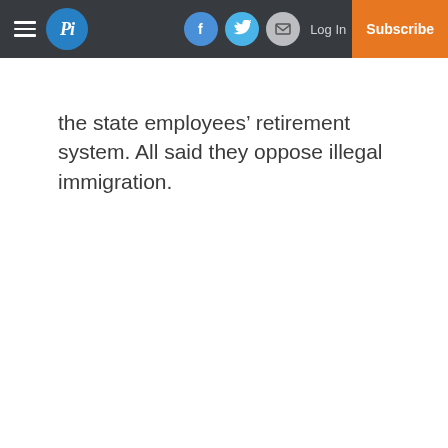Pi | Log In | Subscribe
the state employees’ retirement system. All said they oppose illegal immigration.